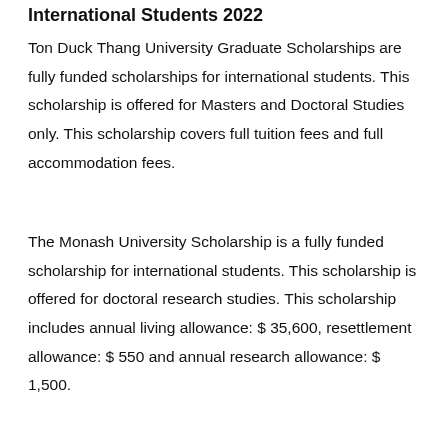International Students 2022
Ton Duck Thang University Graduate Scholarships are fully funded scholarships for international students. This scholarship is offered for Masters and Doctoral Studies only. This scholarship covers full tuition fees and full accommodation fees.
The Monash University Scholarship is a fully funded scholarship for international students. This scholarship is offered for doctoral research studies. This scholarship includes annual living allowance: $ 35,600, resettlement allowance: $ 550 and annual research allowance: $ 1,500.